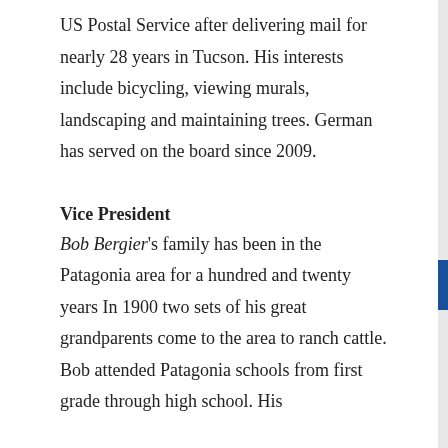US Postal Service after delivering mail for nearly 28 years in Tucson. His interests include bicycling, viewing murals, landscaping and maintaining trees. German has served on the board since 2009.
Vice President
Bob Bergier's family has been in the Patagonia area for a hundred and twenty years In 1900 two sets of his great grandparents come to the area to ranch cattle. Bob attended Patagonia schools from first grade through high school. His